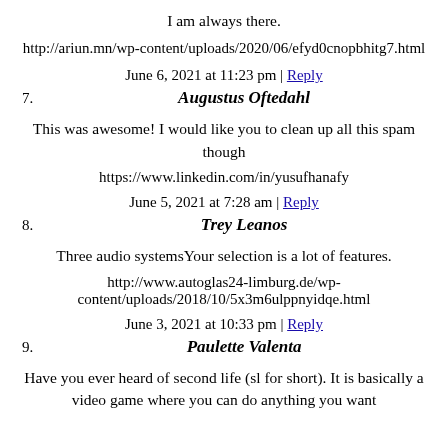I am always there.
http://ariun.mn/wp-content/uploads/2020/06/efyd0cnopbhitg7.html
June 6, 2021 at 11:23 pm | Reply
7. Augustus Oftedahl
This was awesome! I would like you to clean up all this spam though
https://www.linkedin.com/in/yusufhanafy
June 5, 2021 at 7:28 am | Reply
8. Trey Leanos
Three audio systemsYour selection is a lot of features.
http://www.autoglas24-limburg.de/wp-content/uploads/2018/10/5x3m6ulppnyidqe.html
June 3, 2021 at 10:33 pm | Reply
9. Paulette Valenta
Have you ever heard of second life (sl for short). It is basically a video game where you can do anything you want